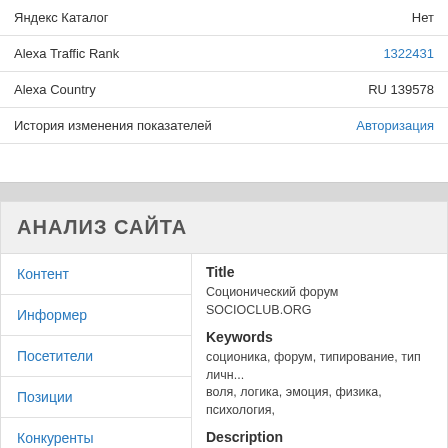|  |  |
| --- | --- |
| Яндекс Каталог | Нет |
| Alexa Traffic Rank | 1322431 |
| Alexa Country | RU 139578 |
| История изменения показателей | Авторизация |
АНАЛИЗ САЙТА
Контент
Title
Соционический форум SOCIOCLUB.ORG
Информер
Keywords
соционика, форум, типирование, тип личн... воля, логика, эмоция, физика, психология,
Посетители
Description
Форум о соционике и психософии с типиро...
Позиции
Конкуренты